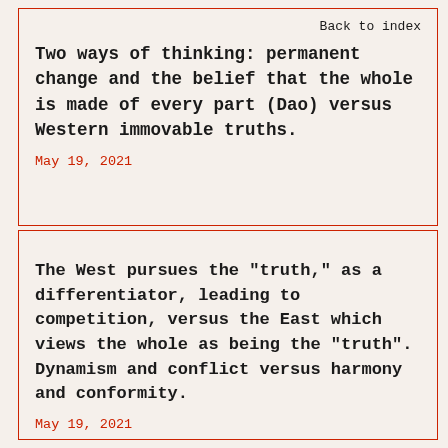Back to index
Two ways of thinking: permanent change and the belief that the whole is made of every part (Dao) versus Western immovable truths.
May 19, 2021
The West pursues the "truth," as a differentiator, leading to competition, versus the East which views the whole as being the "truth". Dynamism and conflict versus harmony and conformity.
May 19, 2021